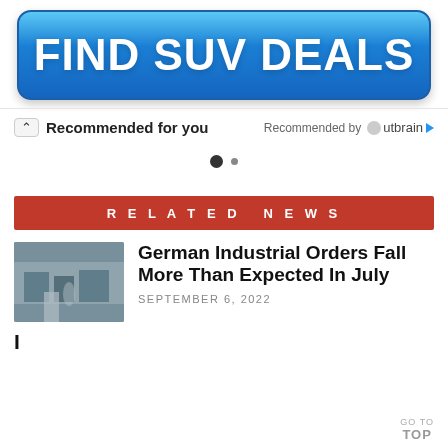[Figure (other): Blue gradient button with text FIND SUV DEALS in bold white letters]
Recommended for you
Recommended by Outbrain
[Figure (other): Carousel dot indicators: one large filled dot and one small dot]
RELATED NEWS
German Industrial Orders Fall More Than Expected In July
SEPTEMBER 6, 2022
GO TO TOP